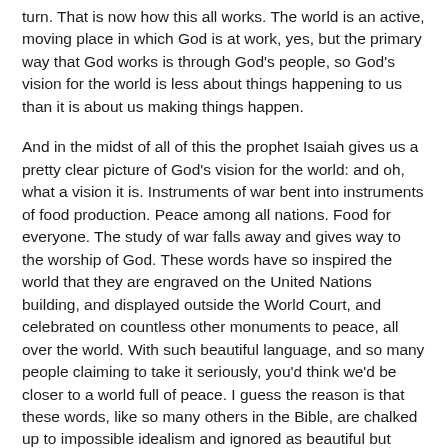turn. That is now how this all works. The world is an active, moving place in which God is at work, yes, but the primary way that God works is through God's people, so God's vision for the world is less about things happening to us than it is about us making things happen.
And in the midst of all of this the prophet Isaiah gives us a pretty clear picture of God's vision for the world: and oh, what a vision it is. Instruments of war bent into instruments of food production. Peace among all nations. Food for everyone. The study of war falls away and gives way to the worship of God. These words have so inspired the world that they are engraved on the United Nations building, and displayed outside the World Court, and celebrated on countless other monuments to peace, all over the world. With such beautiful language, and so many people claiming to take it seriously, you'd think we'd be closer to a world full of peace. I guess the reason is that these words, like so many others in the Bible, are chalked up to impossible idealism and ignored as beautiful but outdated relics of an earlier time.